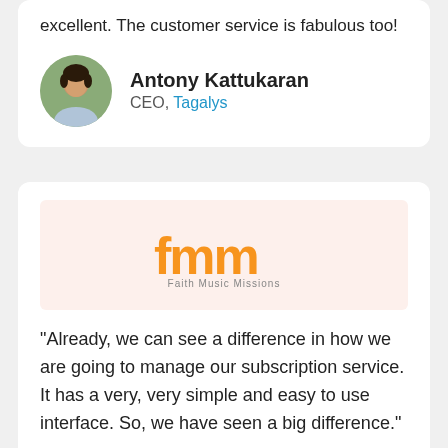excellent. The customer service is fabulous too!
Antony Kattukaran
CEO, Tagalys
[Figure (logo): Faith Music Missions (fmm) logo in orange on a light pink/peach background]
"Already, we can see a difference in how we are going to manage our subscription service. It has a very, very simple and easy to use interface. So, we have seen a big difference."
Ryan Libbey